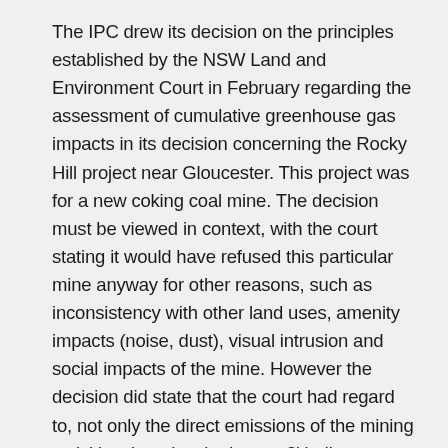The IPC drew its decision on the principles established by the NSW Land and Environment Court in February regarding the assessment of cumulative greenhouse gas impacts in its decision concerning the Rocky Hill project near Gloucester. This project was for a new coking coal mine. The decision must be viewed in context, with the court stating it would have refused this particular mine anyway for other reasons, such as inconsistency with other land uses, amenity impacts (noise, dust), visual intrusion and social impacts of the mine. However the decision did state that the court had regard to, not only the direct emissions of the mining activities, but also the 'scope 3' indirect emissions, being the